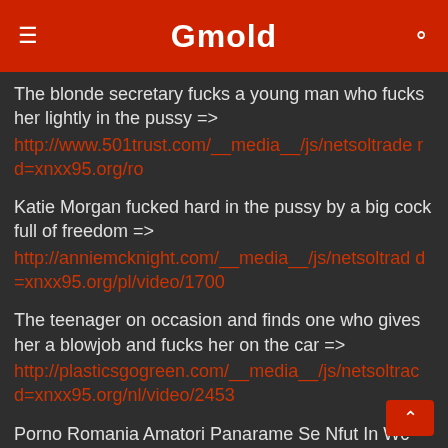Gmold
The blonde secretary fucks a young man who fucks her lightly in the pussy =>
http://www.501trust.com/__media__/js/netsoltraderd=xnxx95.org/ro
Katie Morgan fucked hard in the pussy by a big cock full of freedom =>
http://anniemcknight.com/__media__/js/netsoltradd=xnxx95.org/pl/video/1700
The teenager on occasion and finds one who gives her a blowjob and fucks her on the car =>
http://plasticsgogreen.com/__media__/js/netsoltrad=xnxx95.org/nl/video/2453
Porno Romania Amatori Panarame Se Nfut In Wc Public =>
http://crosscountrycommunications.biz/__media__/d=xnxx95.org/nl/video/1637